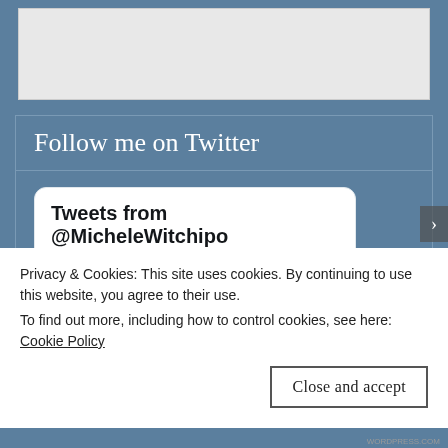[Figure (screenshot): Top gray placeholder box area on steelblue background]
Follow me on Twitter
[Figure (screenshot): Twitter widget showing tweets from @MicheleWitchipo, with a tweet card showing Michele... profile photo, @Mc... handle, 15h timestamp, and text 'R.I.P to Paul Curtis, who worked in the comics...' with Twitter bird icon]
Privacy & Cookies: This site uses cookies. By continuing to use this website, you agree to their use.
To find out more, including how to control cookies, see here: Cookie Policy
Close and accept